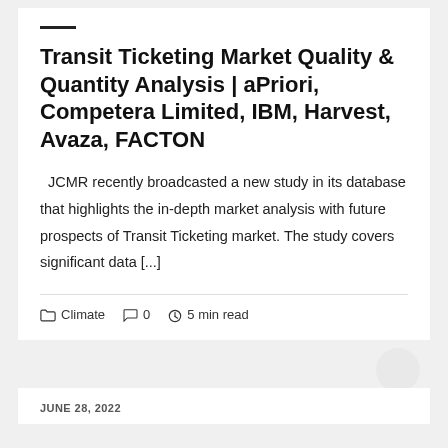Transit Ticketing Market Quality & Quantity Analysis | aPriori, Competera Limited, IBM, Harvest, Avaza, FACTON
JCMR recently broadcasted a new study in its database that highlights the in-depth market analysis with future prospects of Transit Ticketing market. The study covers significant data [...]
Climate  0  5 min read
JUNE 28, 2022